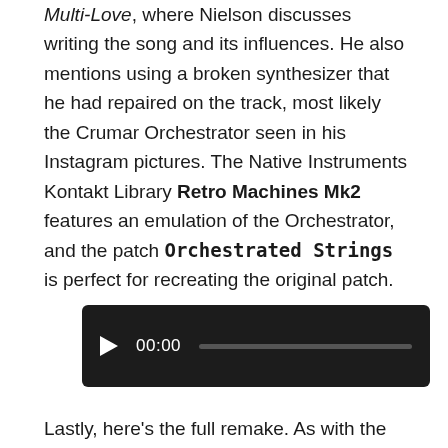Multi-Love, where Nielson discusses writing the song and its influences. He also mentions using a broken synthesizer that he had repaired on the track, most likely the Crumar Orchestrator seen in his Instagram pictures. The Native Instruments Kontakt Library Retro Machines Mk2 features an emulation of the Orchestrator, and the patch Orchestrated Strings is perfect for recreating the original patch.
[Figure (other): Audio player widget showing play button, time display 00:00, and a progress bar on a dark background.]
Lastly, here's the full remake. As with the original,